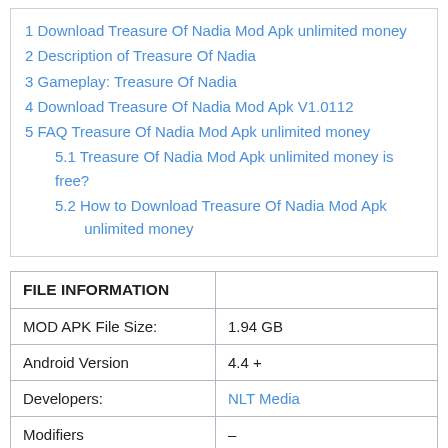1 Download Treasure Of Nadia Mod Apk unlimited money
2 Description of Treasure Of Nadia
3 Gameplay: Treasure Of Nadia
4 Download Treasure Of Nadia Mod Apk V1.0112
5 FAQ Treasure Of Nadia Mod Apk unlimited money
5.1 Treasure Of Nadia Mod Apk unlimited money is free?
5.2 How to Download Treasure Of Nadia Mod Apk unlimited money
| FILE INFORMATION |  |
| --- | --- |
| MOD APK File Size: | 1.94 GB |
| Android Version | 4.4 + |
| Developers: | NLT Media |
| Modifiers | – |
| Category: | NSFW, Simulation |
| Version | V1.0112 |